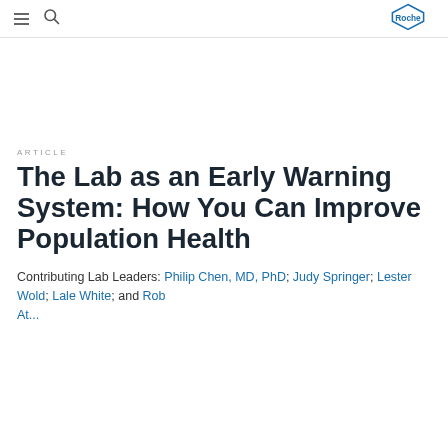Roche
ARTICLE
The Lab as an Early Warning System: How You Can Improve Population Health
Contributing Lab Leaders: Philip Chen, MD, PhD; Judy Springer; Lester Wold; Lale White; and Rob At...